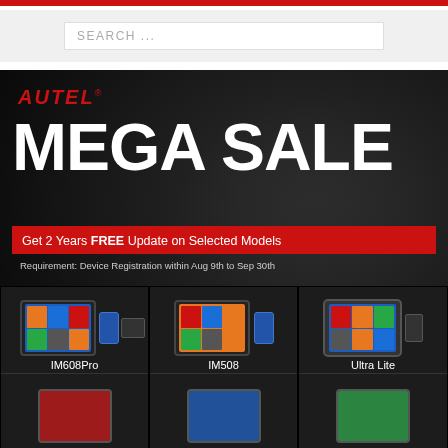SEARCH ...
[Figure (infographic): Autel Mega Sale promotional banner on dark background with car silhouette. Shows AUTEL logo in red, MEGA SALE in large white text, red banner reading 'Get 2 Years FREE Update on Selected Models', registration requirement text, and product grid showing IM608Pro, IM508, Ultra Lite diagnostic tablets.]